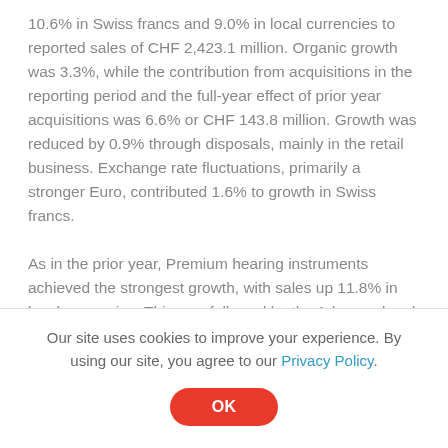10.6% in Swiss francs and 9.0% in local currencies to reported sales of CHF 2,423.1 million. Organic growth was 3.3%, while the contribution from acquisitions in the reporting period and the full-year effect of prior year acquisitions was 6.6% or CHF 143.8 million. Growth was reduced by 0.9% through disposals, mainly in the retail business. Exchange rate fluctuations, primarily a stronger Euro, contributed 1.6% to growth in Swiss francs.
As in the prior year, Premium hearing instruments achieved the strongest growth, with sales up 11.8% in local currencies. This was followed by the Advanced and Standard categories with …
Our site uses cookies to improve your experience. By using our site, you agree to our Privacy Policy.